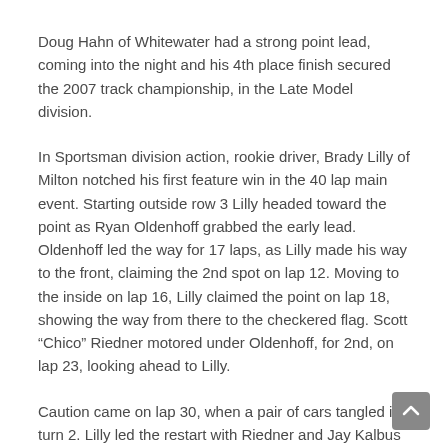Doug Hahn of Whitewater had a strong point lead, coming into the night and his 4th place finish secured the 2007 track championship, in the Late Model division.
In Sportsman division action, rookie driver, Brady Lilly of Milton notched his first feature win in the 40 lap main event. Starting outside row 3 Lilly headed toward the point as Ryan Oldenhoff grabbed the early lead. Oldenhoff led the way for 17 laps, as Lilly made his way to the front, claiming the 2nd spot on lap 12. Moving to the inside on lap 16, Lilly claimed the point on lap 18, showing the way from there to the checkered flag. Scott “Chico” Riedner motored under Oldenhoff, for 2nd, on lap 23, looking ahead to Lilly.
Caution came on lap 30, when a pair of cars tangled in turn 2. Lilly led the restart with Riedner and Jay Kalbus right on his tail. The yellow waived again, on lap 36, with Kalbus and Tom Reents tangled in the 2nd turn. Lilly led the restart, with Riedner still in t and Dave Oswald up to the 3rd spot. Over the closing laps Lil held off Riedner’s charge. At the stripe it was Lilly for the win